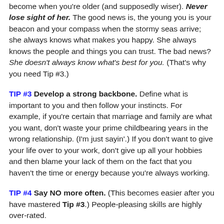become when you're older (and supposedly wiser). Never lose sight of her. The good news is, the young you is your beacon and your compass when the stormy seas arrive; she always knows what makes you happy. She always knows the people and things you can trust. The bad news? She doesn't always know what's best for you. (That's why you need Tip #3.)
TIP #3 Develop a strong backbone. Define what is important to you and then follow your instincts. For example, if you're certain that marriage and family are what you want, don't waste your prime childbearing years in the wrong relationship. (I'm just sayin'.) If you don't want to give your life over to your work, don't give up all your hobbies and then blame your lack of them on the fact that you haven't the time or energy because you're always working.
TIP #4 Say NO more often. (This becomes easier after you have mastered Tip #3.) People-pleasing skills are highly over-rated.
TIP #5 Cultivate a rich network of supportive friends,